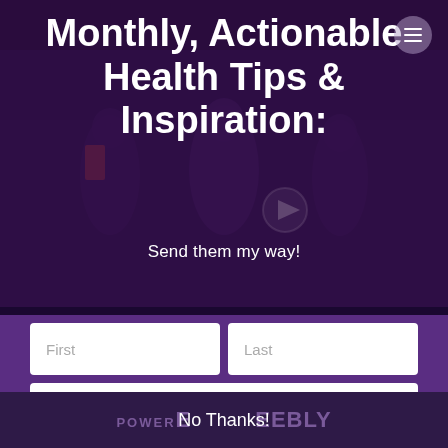[Figure (screenshot): Dark purple video banner background showing people at what appears to be a fitness or health event, with a play button icon in the center]
Monthly, Actionable Health Tips & Inspiration:
Send them my way!
First
Last
Email Address
Subscribe
No Thanks! POWERED BY Weebly